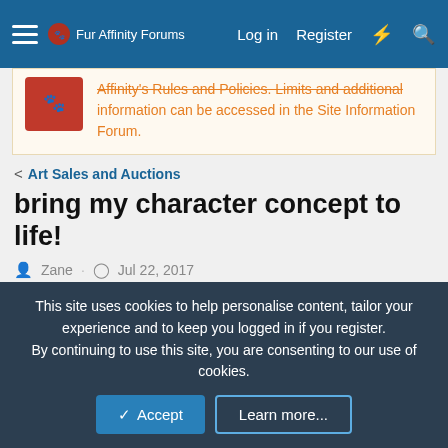Fur Affinity Forums  Log in  Register
Affinity's Rules and Policies. Limits and additional information can be accessed in the Site Information Forum.
< Art Sales and Auctions
bring my character concept to life!
Zane · Jul 22, 2017
Zane
This site uses cookies to help personalise content, tailor your experience and to keep you logged in if you register. By continuing to use this site, you are consenting to our use of cookies.
Accept  Learn more...